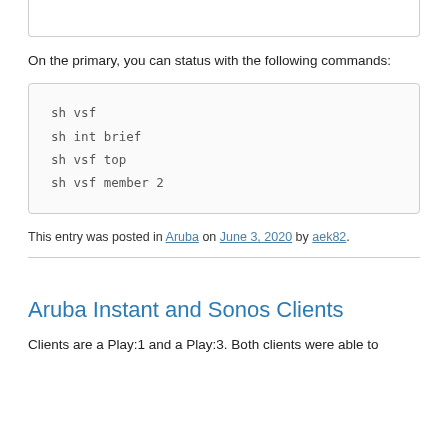On the primary, you can status with the following commands:
sh vsf
sh int brief
sh vsf top
sh vsf member 2
This entry was posted in Aruba on June 3, 2020 by aek82.
Aruba Instant and Sonos Clients
Clients are a Play:1 and a Play:3. Both clients were able to